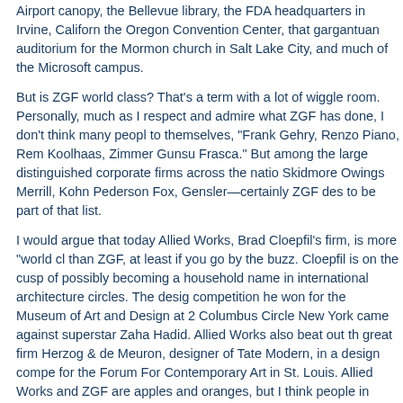Airport canopy, the Bellevue library, the FDA headquarters in Irvine, California, the Oregon Convention Center, that gargantuan auditorium for the Mormon church in Salt Lake City, and much of the Microsoft campus.
But is ZGF world class? That's a term with a lot of wiggle room. Personally, as much as I respect and admire what ZGF has done, I don't think many people say to themselves, "Frank Gehry, Renzo Piano, Rem Koolhaas, Zimmer Gunsul Frasca." But among the large distinguished corporate firms across the nation—Skidmore Owings Merrill, Kohn Pederson Fox, Gensler—certainly ZGF deserves to be part of that list.
I would argue that today Allied Works, Brad Cloepfil's firm, is more "world class" than ZGF, at least if you go by the buzz. Cloepfil is on the cusp of possibly becoming a household name in international architecture circles. The design competition he won for the Museum of Art and Design at 2 Columbus Circle in New York came against superstar Zaha Hadid. Allied Works also beat out the great firm Herzog & de Meuron, designer of Tate Modern, in a design competition for the Forum For Contemporary Art in St. Louis. Allied Works and ZGF are apples and oranges, but I think people in London and Rome and Tokyo know Brad more than anyone at Zimmer Gunsul Frasca.
Posted by Brian Libby on October 03, 2005 | Permalink | Comments (4)